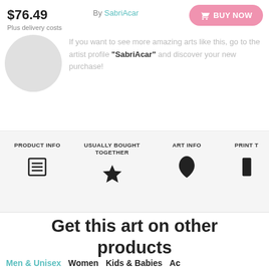$76.49
Plus delivery costs
By SabriAcar
BUY NOW
If you want to see more amazing arts like this, go to the artist profile "SabriAcar" and discover your new purchase!
PRODUCT INFO
USUALLY BOUGHT TOGETHER
ART INFO
PRINT T
Get this art on other products
Men & Unisex
Women
Kids & Babies
Ac